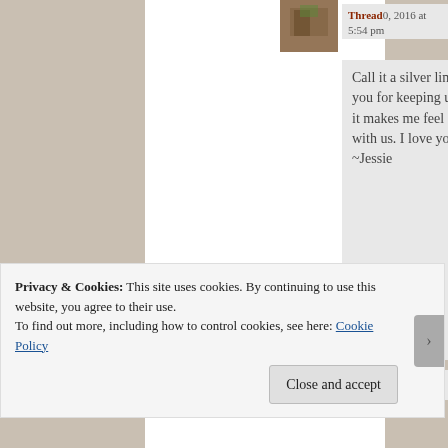[Figure (photo): Small avatar thumbnail photo showing a person outdoors]
Thread 0, 2016 at 5:54 pm
Call it a silver lining ❤ Thank you for keeping up on reading... it makes me feel like you are with us. I love you, mama. ~Jessie
★ Like
Privacy & Cookies: This site uses cookies. By continuing to use this website, you agree to their use.
To find out more, including how to control cookies, see here: Cookie Policy
Close and accept